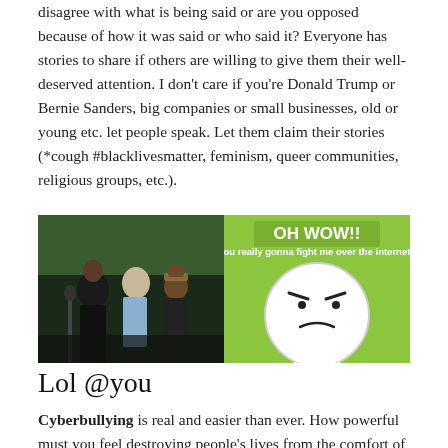disagree with what is being said or are you opposed because of how it was said or who said it? Everyone has stories to share if others are willing to give them their well-deserved attention. I don't care if you're Donald Trump or Bernie Sanders, big companies or small businesses, old or young etc. let people speak. Let them claim their stories (*cough #blacklivesmatter, feminism, queer communities, religious groups, etc.).
[Figure (photo): Photo of people at what appears to be a political rally or public event, with microphones visible.]
[Figure (illustration): Meme image with green background showing an angry cartoon face. Text reads: OH WOW!! You really gonna fight me over the internet?]
Lol @you
Cyberbullying is real and easier than ever. How powerful must you feel destroying people's lives from the comfort of your keyboard, huh? All the subversive tactics of snubbing